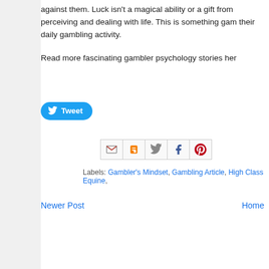against them. Luck isn't a magical ability or a gift from perceiving and dealing with life. This is something gam their daily gambling activity.
Read more fascinating gambler psychology stories her
[Figure (screenshot): Tweet button with Twitter bird icon]
[Figure (screenshot): Social share icons: Gmail, Blogger, Twitter, Facebook, Pinterest]
Labels: Gambler's Mindset, Gambling Article, High Class Equine,
Newer Post   Home